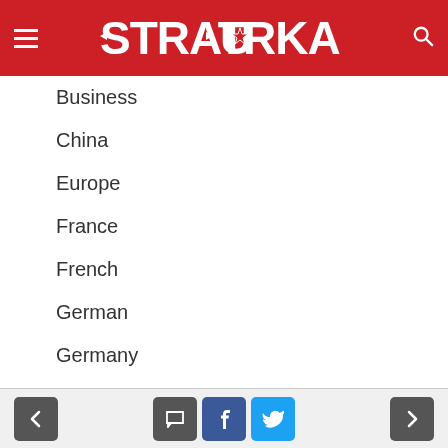STRATORKA
Business
China
Europe
France
French
German
Germany
Greece
Iraq
Syria
The US